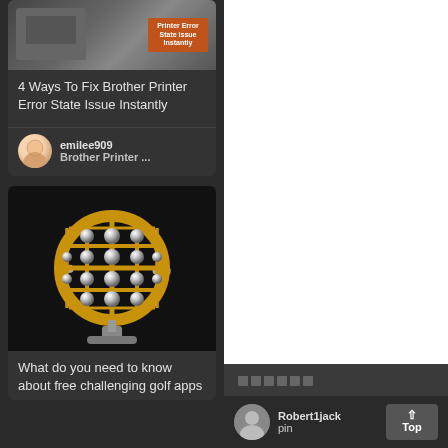[Figure (screenshot): Card with printer image and orange badge at top]
4 Ways To Fix Brother Printer Error State Issue Instantly
emilee909
Brother Printer ...
[Figure (photo): Gold metallic globe/microphone stand on black background]
What do you need to know about free challenging golf apps
[Figure (screenshot): White panel (advertisement/content area)]
□□□□□
Robert1jack
pin
Top